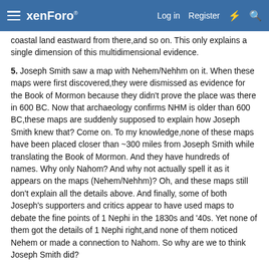xenForo  Log in  Register
coastal land eastward from there,and so on. This only explains a single dimension of this multidimensional evidence.
5. Joseph Smith saw a map with Nehem/Nehhm on it. When these maps were first discovered,they were dismissed as evidence for the Book of Mormon because they didn't prove the place was there in 600 BC. Now that archaeology confirms NHM is older than 600 BC,these maps are suddenly supposed to explain how Joseph Smith knew that? Come on. To my knowledge,none of these maps have been placed closer than ~300 miles from Joseph Smith while translating the Book of Mormon. And they have hundreds of names. Why only Nahom? And why not actually spell it as it appears on the maps (Nehem/Nehhm)? Oh, and these maps still don't explain all the details above. And finally, some of both Joseph's supporters and critics appear to have used maps to debate the fine points of 1 Nephi in the 1830s and '40s. Yet none of them got the details of 1 Nephi right,and none of them noticed Nehem or made a connection to Nahom. So why are we to think Joseph Smith did?